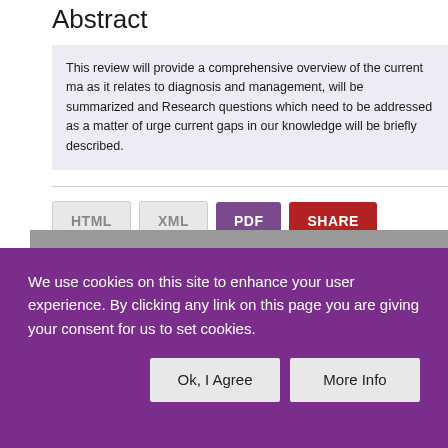Abstract
This review will provide a comprehensive overview of the current ma as it relates to diagnosis and management, will be summarized and Research questions which need to be addressed as a matter of urge current gaps in our knowledge will be briefly described.
HTML  XML  PDF  SHARE
We use cookies on this site to enhance your user experience. By clicking any link on this page you are giving your consent for us to set cookies.
Ok, I Agree   More Info